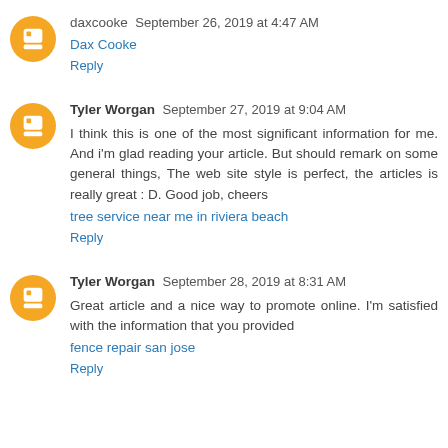daxcooke  September 26, 2019 at 4:47 AM
Dax Cooke
Reply
Tyler Worgan  September 27, 2019 at 9:04 AM
I think this is one of the most significant information for me. And i'm glad reading your article. But should remark on some general things, The web site style is perfect, the articles is really great : D. Good job, cheers
tree service near me in riviera beach
Reply
Tyler Worgan  September 28, 2019 at 8:31 AM
Great article and a nice way to promote online. I'm satisfied with the information that you provided
fence repair san jose
Reply